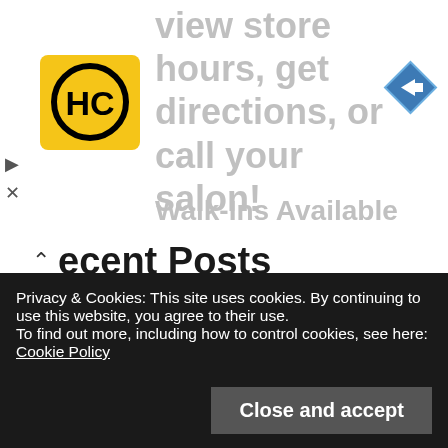[Figure (screenshot): Top banner area with HC logo (yellow/black circle with HC letters), navigation arrow icon (blue diamond with white right arrow), and grayed out text 'view store hours, get directions, or call your salon!' and 'Walk-Ins Available']
Recent Posts
Jelly Pumpkin Powder DIY Face Beauty Cold Mask Packs 40g
Jelly Mango Powder DIY Face Beauty Cold Mask Packs 40g
Jelly Cumin Turmeric Powder DIY Face Beauty Cold Mask Packs 40g
Privacy & Cookies: This site uses cookies. By continuing to use this website, you agree to their use.
To find out more, including how to control cookies, see here: Cookie Policy